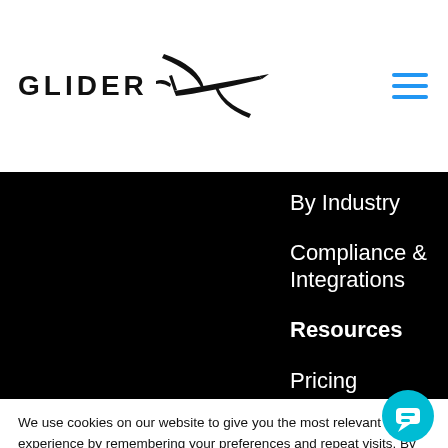[Figure (logo): Glider logo with silhouette of a glider aircraft and text GLIDER]
By Industry
Compliance & Integrations
Resources
Pricing
Blog
We use cookies on our website to give you the most relevant experience by remembering your preferences and repeat visits. By clicking "Accept", you consent to the use of ALL the cookies. However you may visit Cookie Settings to provide a controlled consent.
Cookie settings
ACCEPT